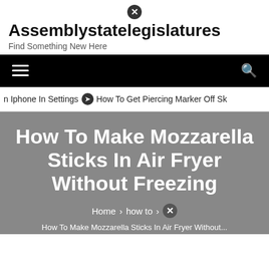Assemblystatelegislatures — Find Something New Here
On Iphone In Settings  ❯ How To Get Piercing Marker Off Sk
How To Make Mozzarella Sticks In Air Fryer Without Freezing
Home > how to >
How To Make Mozzarella Sticks In Air Fryer Without...